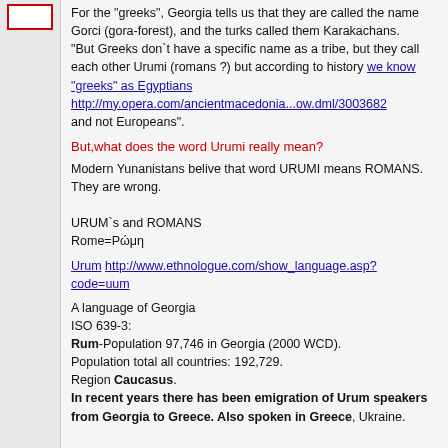For the "greeks", Georgia tells us that they are called the name Gorci (gora-forest), and the turks called them Karakachans.
"But Greeks don`t have a specific name as a tribe, but they call each other Urumi (romans ?) but according to history we know "greeks" as Egyptians http://my.opera.com/ancientmacedonia...ow.dml/3003682 and not Europeans".
But,what does the word Urumi really mean?
Modern Yunanistans belive that word URUMI means ROMANS.
They are wrong.

URUM`s and ROMANS
Rome=Ρώμη
Urum http://www.ethnologue.com/show_language.asp?code=uum
A language of Georgia
ISO 639-3:
Rum-Population 97,746 in Georgia (2000 WCD).
Population total all countries: 192,729.
Region Caucasus.
In recent years there has been emigration of Urum speakers from Georgia to Greece. Also spoken in Greece, Ukraine.